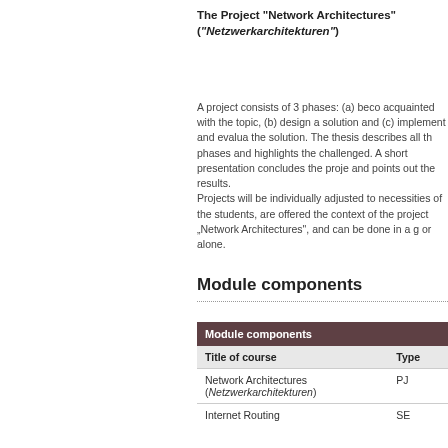The Project "Network Architectures" ("Netzwerkarchitekturen")
A project consists of 3 phases: (a) become acquainted with the topic, (b) design a solution and (c) implement and evaluate the solution. The thesis describes all the phases and highlights the challenged. A short presentation concludes the project and points out the results.
Projects will be individually adjusted to necessities of the students, are offered in the context of the project „Network Architectures", and can be done in a group or alone.
Module components
| Module components |  |
| --- | --- |
| Title of course | Type |
| Network Architectures (Netzwerkarchitekturen) | PJ |
| Internet Routing | SE |